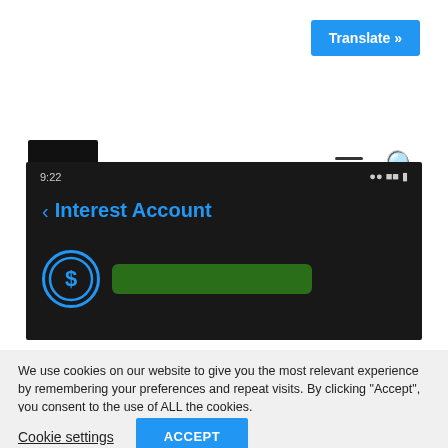Translate »
[Figure (screenshot): Website header with My CoinLoan Review logo, hamburger menu and search icon]
[Figure (screenshot): Mobile app screenshot showing Interest Account screen with a dollar sign icon and a green blurred bar]
We use cookies on our website to give you the most relevant experience by remembering your preferences and repeat visits. By clicking “Accept”, you consent to the use of ALL the cookies.
Cookie settings
ACCEPT